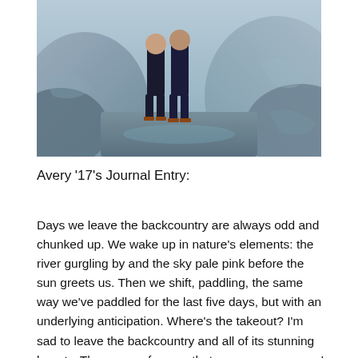[Figure (photo): Two people standing on rocky terrain near a river, viewed from below, wearing sandals and dark pants]
Avery '17's Journal Entry:
Days we leave the backcountry are always odd and chunked up. We wake up in nature's elements: the river gurgling by and the sky pale pink before the sun greets us. Then we shift, paddling, the same way we've paddled for the last five days, but with an underlying anticipation. Where's the takeout? I'm sad to leave the backcountry and all of its stunning beauty. The sense of peace that comes over me as I dive into the river is unique, and I know I'll be leaving that behind, but in the same way, I am excited to come back to a familiar place and see our bus again. I will always be thankful for the experience I had on the international waters of the Rio, and I'm glad to know our guide, Rebecca. She was